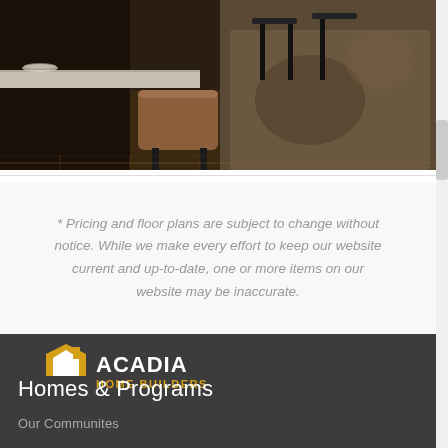[Figure (photo): Interior kitchen/dining room photo showing a bar stool with brown/tan upholstery against dark cabinetry, with a patterned rug and hardwood flooring visible in background]
* Pricing and floor plans are subject to change without notice. While we make every effort to keep our website current and up-to-date, one or more items on our website may be inaccurate.
[Figure (logo): Acadia Home Builders logo — white house silhouette with gold roof on dark background, text ACADIA in white and HOME BUILDERS in gold]
Homes & Programs
Our Communites